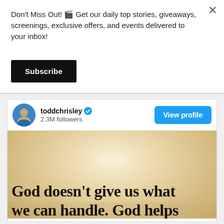Don't Miss Out! 🎬 Get our daily top stories, giveaways, screenings, exclusive offers, and events delivered to your inbox!
Subscribe
toddchrisley ✔ 2.3M followers
View profile
[Figure (screenshot): Instagram post image with inspirational quote on a sandy/golden light background: 'God doesn't give us what we can handle. God helps us handle what we ar...' (text cut off at bottom)]